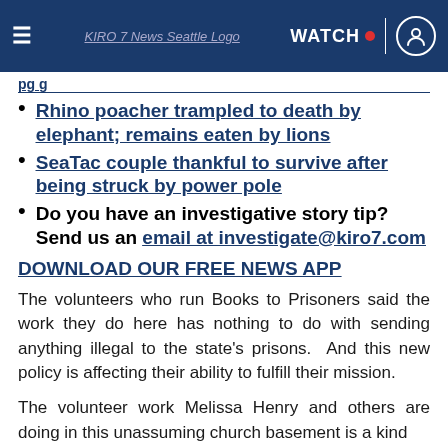KIRO 7 News Seattle — WATCH
Rhino poacher trampled to death by elephant; remains eaten by lions
SeaTac couple thankful to survive after being struck by power pole
Do you have an investigative story tip? Send us an email at investigate@kiro7.com
DOWNLOAD OUR FREE NEWS APP
The volunteers who run Books to Prisoners said the work they do here has nothing to do with sending anything illegal to the state's prisons.  And this new policy is affecting their ability to fulfill their mission.
The volunteer work Melissa Henry and others are doing in this unassuming church basement is a kind